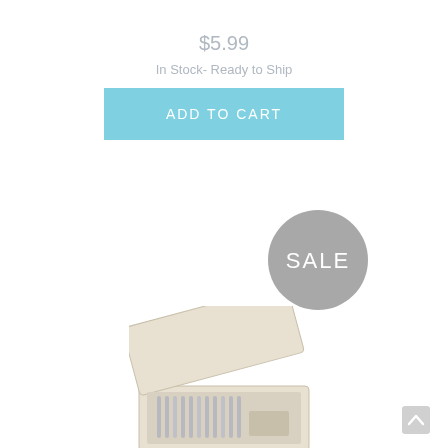$5.99
In Stock- Ready to Ship
ADD TO CART
[Figure (illustration): Gray circular badge with white text 'SALE']
[Figure (photo): Open jewelry or cutlery box with items inside, beige/cream colored box]
[Figure (illustration): Scroll to top chevron arrow icon]